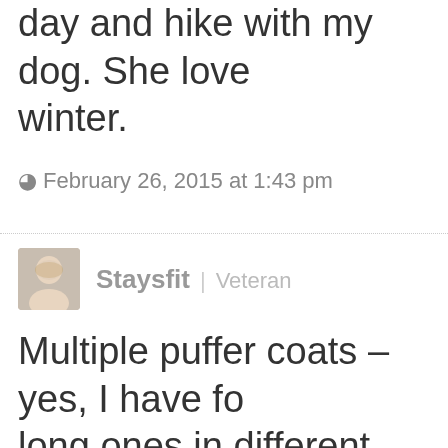day and hike with my dog. She love winter.
February 26, 2015 at 1:43 pm
[Figure (photo): Avatar photo of user Staysfit, a woman with blonde hair]
Staysfit | Veteran
Multiple puffer coats – yes, I have fo long ones in different colors and thr short.
Weather proof boots– yes, I have m